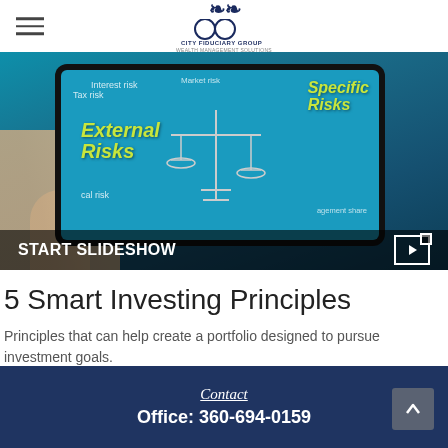City Fiduciary Group
[Figure (photo): Person holding a tablet showing a financial risk infographic with scales and text about External Risks and Specific Risks on a teal background. Bottom bar reads START SLIDESHOW with a play icon.]
5 Smart Investing Principles
Principles that can help create a portfolio designed to pursue investment goals.
Contact
Office: 360-694-0159